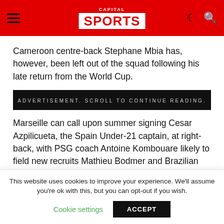CAPITAL SPORTS
Cameroon centre-back Stephane Mbia has, however, been left out of the squad following his late return from the World Cup.
ADVERTISEMENT. SCROLL TO CONTINUE READING.
Marseille can call upon summer signing Cesar Azpilicueta, the Spain Under-21 captain, at right-back, with PSG coach Antoine Kombouare likely to field new recruits Mathieu Bodmer and Brazilian forward Nene.
This website uses cookies to improve your experience. We'll assume you're ok with this, but you can opt-out if you wish. Cookie settings ACCEPT